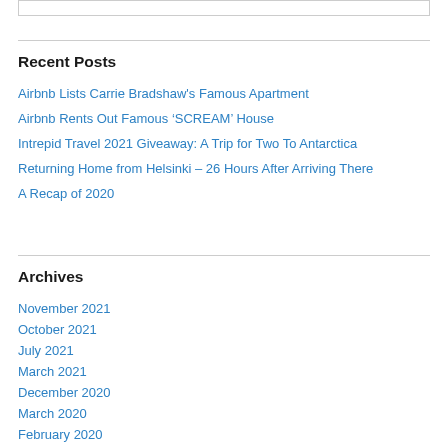Recent Posts
Airbnb Lists Carrie Bradshaw's Famous Apartment
Airbnb Rents Out Famous ‘SCREAM’ House
Intrepid Travel 2021 Giveaway: A Trip for Two To Antarctica
Returning Home from Helsinki – 26 Hours After Arriving There
A Recap of 2020
Archives
November 2021
October 2021
July 2021
March 2021
December 2020
March 2020
February 2020